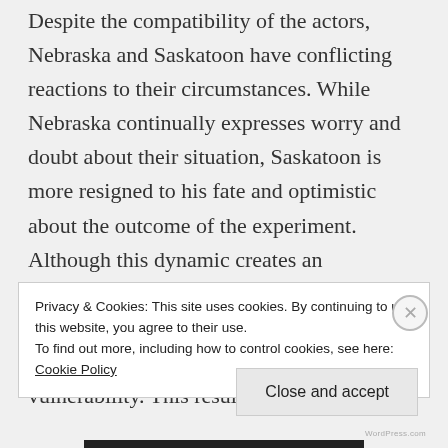Despite the compatibility of the actors, Nebraska and Saskatoon have conflicting reactions to their circumstances. While Nebraska continually expresses worry and doubt about their situation, Saskatoon is more resigned to his fate and optimistic about the outcome of the experiment. Although this dynamic creates an interesting tension between the two, Saskatoon gets somewhat short-changed as a character, lacking Nebraska's depth and vulnerability. This results in a
Privacy & Cookies: This site uses cookies. By continuing to use this website, you agree to their use.
To find out more, including how to control cookies, see here: Cookie Policy
Close and accept